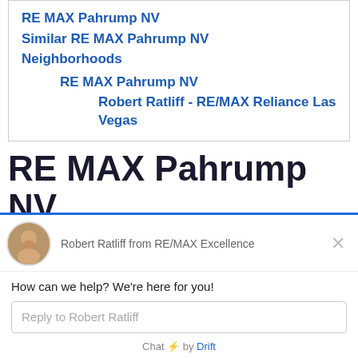RE MAX Pahrump NV
Similar RE MAX Pahrump NV
Neighborhoods
RE MAX Pahrump NV
Robert Ratliff - RE/MAX Reliance Las Vegas
RE MAX Pahrump NV
A name brand cannot make a skilled realtor.
Robert Ratliff from RE/MAX Excellence
How can we help? We're here for you!
Reply to Robert Ratliff
Chat ⚡ by Drift